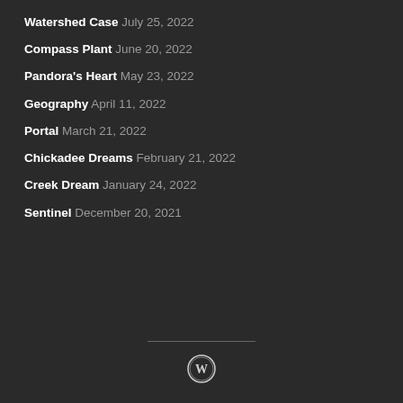Watershed Case July 25, 2022
Compass Plant June 20, 2022
Pandora's Heart May 23, 2022
Geography April 11, 2022
Portal March 21, 2022
Chickadee Dreams February 21, 2022
Creek Dream January 24, 2022
Sentinel December 20, 2021
[Figure (logo): WordPress logo icon in white on dark background]